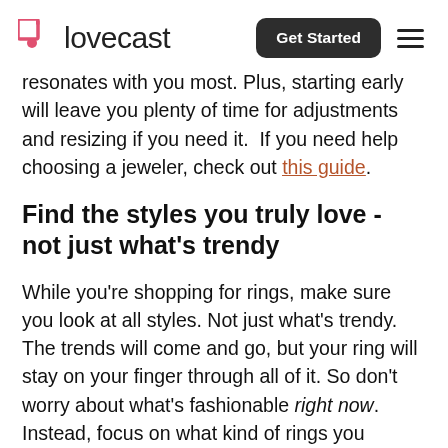lovecast | Get Started
resonates with you most. Plus, starting early will leave you plenty of time for adjustments and resizing if you need it.  If you need help choosing a jeweler, check out this guide.
Find the styles you truly love - not just what's trendy
While you’re shopping for rings, make sure you look at all styles. Not just what’s trendy. The trends will come and go, but your ring will stay on your finger through all of it. So don’t worry about what’s fashionable right now. Instead, focus on what kind of rings you